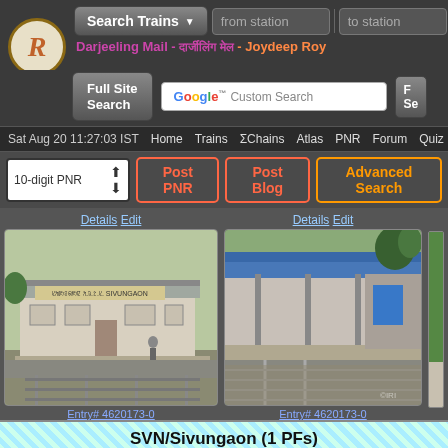Search Trains | from station | to station
Darjeeling Mail - दार्जीलिंग मेल - Joydeep Roy
Full Site Search | Google Custom Search
Sat Aug 20 11:27:03 IST  Home  Trains  ΣChains  Atlas  PNR  Forum  Quiz F
10-digit PNR  Post PNR  Post Blog  Advanced Search
Details Edit
[Figure (photo): Railway station building photo - SVN/Sivungaon station exterior showing platform and building]
Entry# 4620173-0
Details Edit
[Figure (photo): Railway station platform photo - SVN/Sivungaon station covered platform with blue roof]
Entry# 4620173-0
SVN/Sivungaon (1 PFs)
Track: Construction - Doubling+Electrification
Scroll to